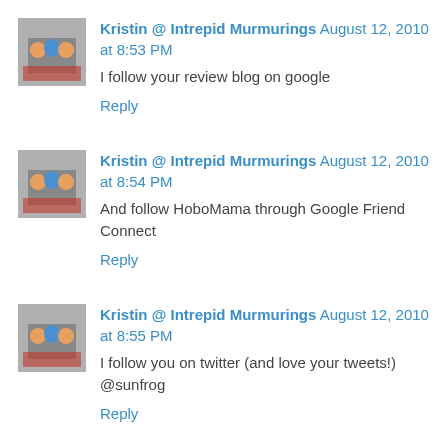Kristin @ Intrepid Murmurings August 12, 2010 at 8:53 PM
I follow your review blog on google
Reply
Kristin @ Intrepid Murmurings August 12, 2010 at 8:54 PM
And follow HoboMama through Google Friend Connect
Reply
Kristin @ Intrepid Murmurings August 12, 2010 at 8:55 PM
I follow you on twitter (and love your tweets!) @sunfrog
Reply
Kristin @ Intrepid Murmurings August 12, 2010 at 8:55